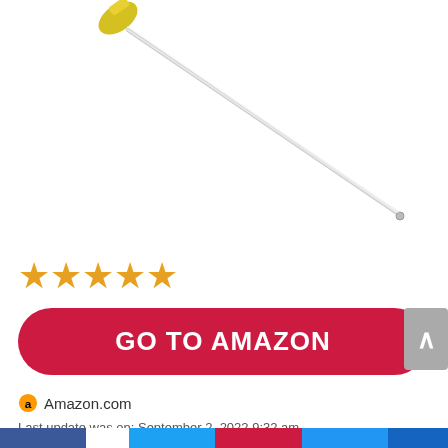[Figure (photo): A medical catheter or needle device — a long thin white rod with a yellow hub/handle at the top left, angling diagonally across a white background.]
★★★★★
GO TO AMAZON
Amazon.com
Last update was on: September 2, 2022 9:32 am